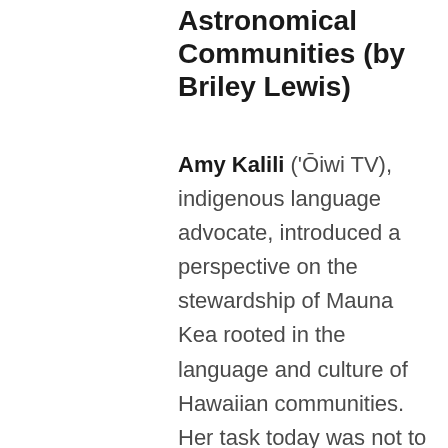Astronomical Communities (by Briley Lewis)
Amy Kalili ('Ōiwi TV), indigenous language advocate, introduced a perspective on the stewardship of Mauna Kea rooted in the language and culture of Hawaiian communities. Her task today was not to definitively give an answer to the conflict surrounding astronomy on the mauna, but to prompt new thoughts and discussions